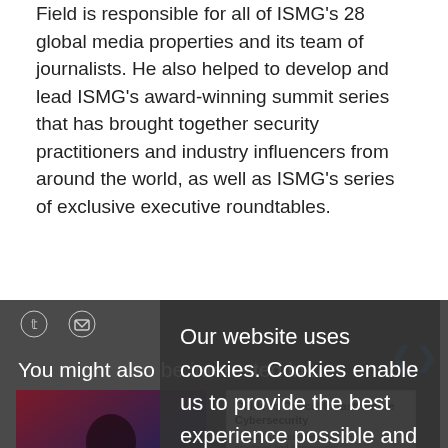Field is responsible for all of ISMG's 28 global media properties and its team of journalists. He also helped to develop and lead ISMG's award-winning summit series that has brought together security practitioners and industry influencers from around the world, as well as ISMG's series of exclusive executive roundtables.
[Figure (screenshot): Cookie consent overlay appearing on ISMG website with text: Our website uses cookies. Cookies enable us to provide the best experience possible and help us understand how visitors use our website. By browsing inforisktoday.eu, you agree to our use of cookies.]
You might also be interested in ...
[Figure (photo): Dark photo of a person]
Ransomware Pressure: Essential: Fixing Initial Access Vector
[Figure (screenshot): Guide to Critical Infrastructure Cybersecurity book/resource cover]
The Comprehensive Resource Guide for Securing Critical Infrastructure
[Figure (screenshot): Dark image showing 'Top security trends in 2022' with green circle graphic]